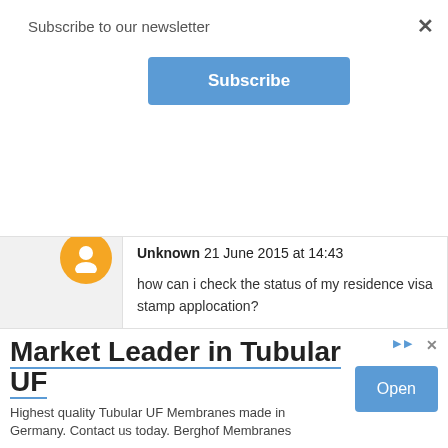Subscribe to our newsletter
[Figure (other): Subscribe button - blue rounded rectangle with white bold text 'Subscribe']
× (close button)
Unknown 21 June 2015 at 14:43
how can i check the status of my residence visa stamp applocation?
Reply
Unknown 21 June 2015 at 14:43
[Figure (other): Advertisement banner: 'Market Leader in Tubular UF' with 'Open' button. Text: Highest quality Tubular UF Membranes made in Germany. Contact us today. Berghof Membranes]